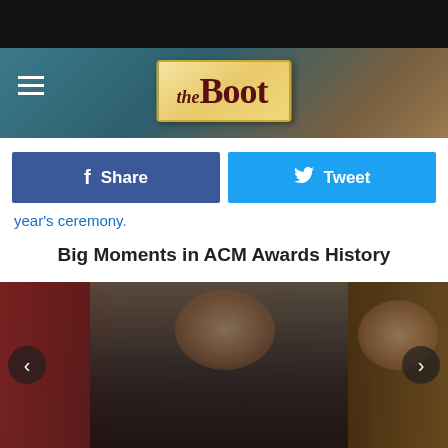[Figure (screenshot): The Boot website logo on decorative gold/tan background with teal/dark header, hamburger menu icon on left]
[Figure (screenshot): Facebook Share button (dark blue) and Twitter Tweet button (light blue) side by side]
year's ceremony.
Big Moments in ACM Awards History
[Figure (photo): Two people at an awards ceremony, man in dark suit holding microphone, vintage photo with red and brown background, navigation arrows on sides]